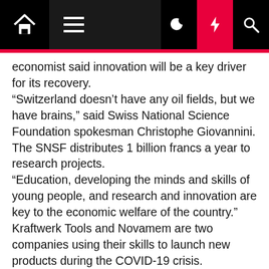Navigation bar with home, menu, dark mode, flash/breaking, and search icons
economist said innovation will be a key driver for its recovery.
“Switzerland doesn’t have any oil fields, but we have brains,” said Swiss National Science Foundation spokesman Christophe Giovannini. The SNSF distributes 1 billion francs a year to research projects.
“Education, developing the minds and skills of young people, and research and innovation are key to the economic welfare of the country.”
Kraftwerk Tools and Novamem are two companies using their skills to launch new products during the COVID-19 crisis.
Novamem, a maker of separation technology based near Zurich, has adapted the plastic membranes it